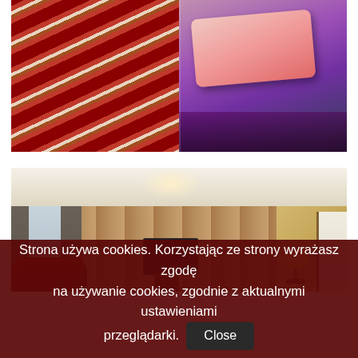[Figure (photo): Hotel room photo collage: left side shows striped carpet in red/cream/brown tones; right side shows pink/purple pillow and bedding detail]
[Figure (photo): Hotel room interior photo showing wooden wall paneling, flat-screen TV mounted on wall, curtains covering window, red sofa in foreground, lamp on desk in background right]
Strona używa cookies. Korzystając ze strony wyrażasz zgodę na używanie cookies, zgodnie z aktualnymi ustawieniami przeglądarki.
Close